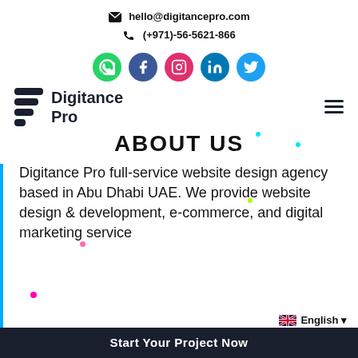hello@digitancepro.com
(+971)-56-5621-866
[Figure (infographic): Social media icons row: WhatsApp (green), Facebook (dark blue), Instagram (pink/red), LinkedIn (blue), Twitter (light blue) as colored circles with white icons]
[Figure (logo): Digitance Pro logo: stacked dark bars decreasing in width on left, bold text 'Digitance Pro' on right]
ABOUT US
Digitance Pro full-service website design agency based in Abu Dhabi UAE. We provide website design & development, e-commerce, and digital marketing service
English
Start Your Project Now